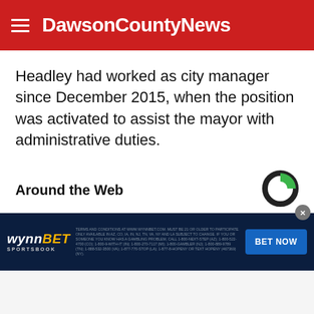DawsonCountyNews
Headley had worked as city manager since December 2015, when the position was activated to assist the mayor with administrative duties.
Around the Web
[Figure (photo): Close-up photo of a woman with long dark hair, partially visible face]
[Figure (other): WynnBET Sportsbook advertisement banner with BET NOW button]